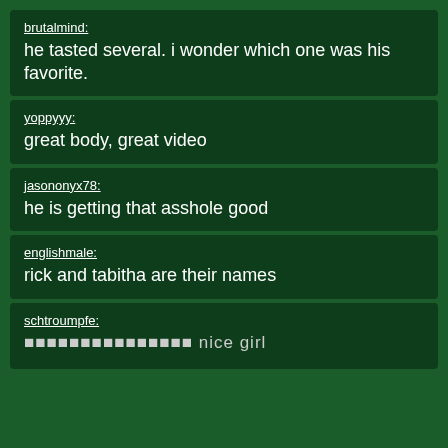brutalmind: he tasted several. i wonder which one was his favorite.
yoppyyy: great body, great video
jasononyx78: he is getting that asshole good
englishmale: rick and tabitha are their names
schtroumpfe: